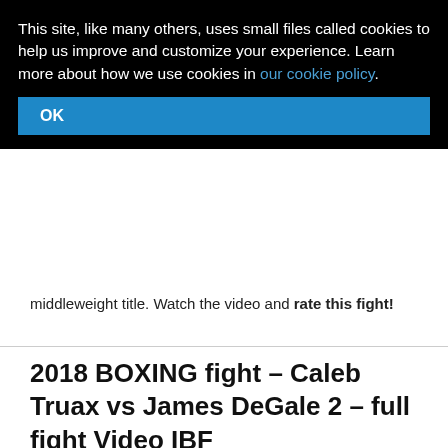This site, like many others, uses small files called cookies to help us improve and customize your experience. Learn more about how we use cookies in our cookie policy.
middleweight title. Watch the video and rate this fight!
2018 BOXING fight – Caleb Truax vs James DeGale 2 – full fight Video IBF
2018/04/08 by ATBF Editorial Board
Review by AllTheBestFights.com: 2018-04-07, disappointing [redacted]t
[Figure (photo): Promotional image for DeGale vs Truax fight showing two boxers with text 'DEGALE TRUAX' on dark background]